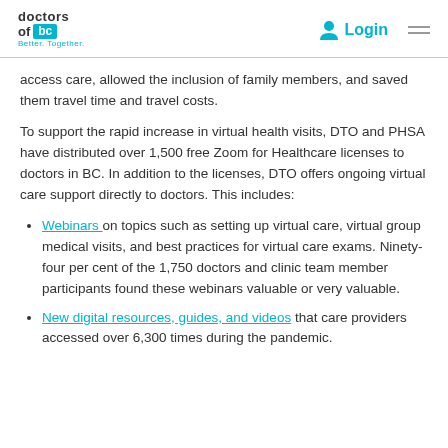doctors of bc Better. Together. Login
access care, allowed the inclusion of family members, and saved them travel time and travel costs.
To support the rapid increase in virtual health visits, DTO and PHSA have distributed over 1,500 free Zoom for Healthcare licenses to doctors in BC. In addition to the licenses, DTO offers ongoing virtual care support directly to doctors. This includes:
Webinars on topics such as setting up virtual care, virtual group medical visits, and best practices for virtual care exams. Ninety-four per cent of the 1,750 doctors and clinic team member participants found these webinars valuable or very valuable.
New digital resources, guides, and videos that care providers accessed over 6,300 times during the pandemic.